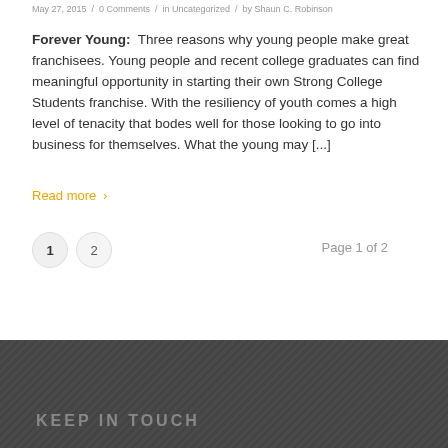May 27, 2015  /  0 Comments  /  in Uncategorized  /  by Shaun C. Robinson
Forever Young:  Three reasons why young people make great franchisees. Young people and recent college graduates can find meaningful opportunity in starting their own Strong College Students franchise. With the resiliency of youth comes a high level of tenacity that bodes well for those looking to go into business for themselves. What the young may [...]
Read more >
1   2   Page 1 of 2
KEEP IN TOUCH